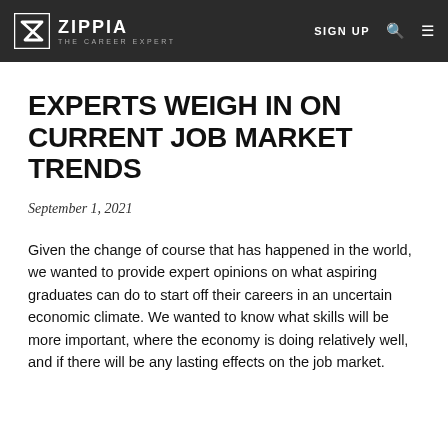ZIPPIA THE CAREER EXPERT | SIGN UP
EXPERTS WEIGH IN ON CURRENT JOB MARKET TRENDS
September 1, 2021
Given the change of course that has happened in the world, we wanted to provide expert opinions on what aspiring graduates can do to start off their careers in an uncertain economic climate. We wanted to know what skills will be more important, where the economy is doing relatively well, and if there will be any lasting effects on the job market.